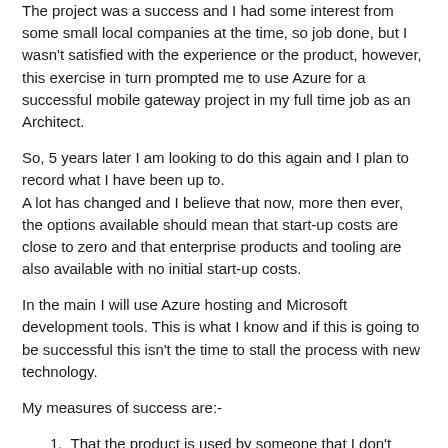The project was a success and I had some interest from some small local companies at the time, so job done, but I wasn't satisfied with the experience or the product, however, this exercise in turn prompted me to use Azure for a successful mobile gateway project in my full time job as an Architect.
So, 5 years later I am looking to do this again and I plan to record what I have been up to.
A lot has changed and I believe that now, more then ever, the options available should mean that start-up costs are close to zero and that enterprise products and tooling are also available with no initial start-up costs.
In the main I will use Azure hosting and Microsoft development tools. This is what I know and if this is going to be successful this isn't the time to stall the process with new technology.
My measures of success are:-
1.  That the product is used by someone that I don't know